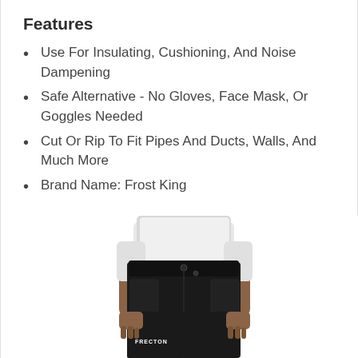Features
Use For Insulating, Cushioning, And Noise Dampening
Safe Alternative - No Gloves, Face Mask, Or Goggles Needed
Cut Or Rip To Fit Pipes And Ducts, Walls, And Much More
Brand Name: Frost King
[Figure (photo): Person wearing black ski/snow pants and a white long-sleeve top, shown from waist down, with a small white logo on the left leg of the pants.]